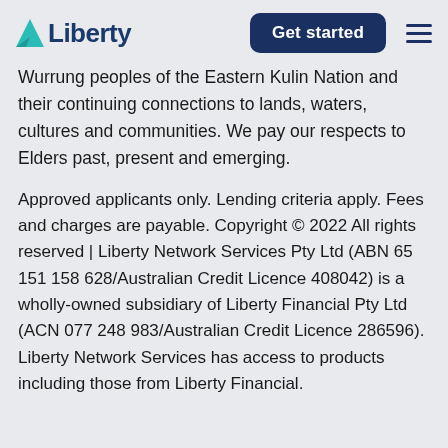Liberty | Get started
Wurrung peoples of the Eastern Kulin Nation and their continuing connections to lands, waters, cultures and communities. We pay our respects to Elders past, present and emerging.
Approved applicants only. Lending criteria apply. Fees and charges are payable. Copyright © 2022 All rights reserved | Liberty Network Services Pty Ltd (ABN 65 151 158 628/Australian Credit Licence 408042) is a wholly-owned subsidiary of Liberty Financial Pty Ltd (ACN 077 248 983/Australian Credit Licence 286596). Liberty Network Services has access to products including those from Liberty Financial.